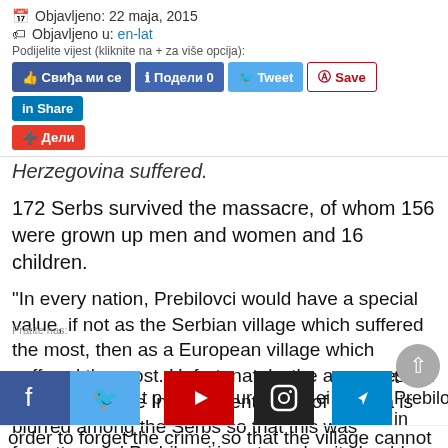📅 Objavljeno: 22 maja, 2015
🏷 Objavljeno u: en-lat
Podijelite vijest (kliknite na + za više opcija):
[Share buttons: Свиђа ми се | Подели 0 | Tweet | Save | Share | Дели]
Herzegovina suffered.
172 Serbs survived the massacre, of whom 156 were grown up men and women and 16 children.
“In every nation, Prebilovci would have a special value, if not as the Serbian village which suffered the most, then as a European village which suffered the most. Unfortunately, the awareness of sufferings in the Independent State of Croatia is blurred among the Serbs so that this was forgotten and Prebilovci is not a value it should be,” Jahura said.
Pratite nas:
... put ... ei ... t on Prebilovci in order to forget the crime, so that the village cannot